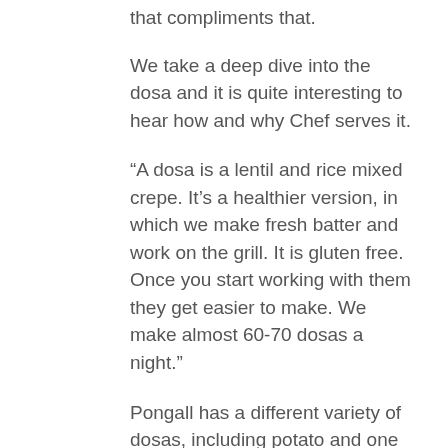that compliments that.
We take a deep dive into the dosa and it is quite interesting to hear how and why Chef serves it.
“A dosa is a lentil and rice mixed crepe. It’s a healthier version, in which we make fresh batter and work on the grill. It is gluten free. Once you start working with them they get easier to make. We make almost 60-70 dosas a night.”
Pongall has a different variety of dosas, including potato and one with red chili paste, along with cheese and even chocolate. Dosas are very versatile and so much can be added to provide more flavor.